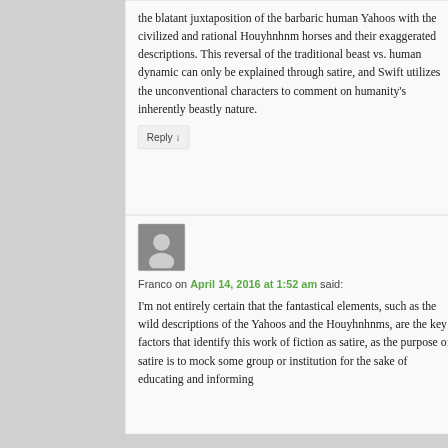the blatant juxtaposition of the barbaric human Yahoos with the civilized and rational Houyhnhnm horses and their exaggerated descriptions. This reversal of the traditional beast vs. human dynamic can only be explained through satire, and Swift utilizes the unconventional characters to comment on humanity's inherently beastly nature.
Reply ↓
Franco on April 14, 2016 at 1:52 am said:
I'm not entirely certain that the fantastical elements, such as the wild descriptions of the Yahoos and the Houyhnhnms, are the key factors that identify this work of fiction as satire, as the purpose of satire is to mock some group or institution for the sake of educating and informing